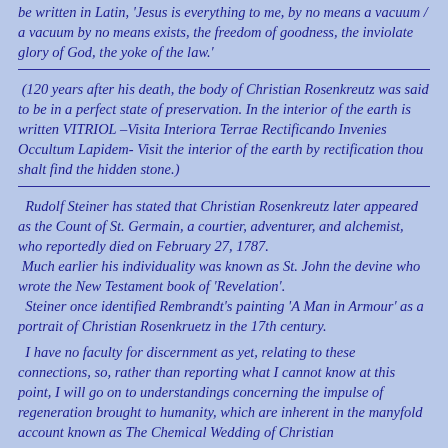be written in Latin, 'Jesus is everything to me, by no means a vacuum / a vacuum by no means exists, the freedom of goodness, the inviolate glory of God, the yoke of the law.'
(120 years after his death, the body of Christian Rosenkreutz was said to be in a perfect state of preservation. In the interior of the earth is written VITRIOL –Visita Interiora Terrae Rectificando Invenies Occultum Lapidem- Visit the interior of the earth by rectification thou shalt find the hidden stone.)
Rudolf Steiner has stated that Christian Rosenkreutz later appeared as the Count of St. Germain, a courtier, adventurer, and alchemist, who reportedly died on February 27, 1787. Much earlier his individuality was known as St. John the devine who wrote the New Testament book of 'Revelation'. Steiner once identified Rembrandt's painting 'A Man in Armour' as a portrait of Christian Rosenkruetz in the 17th century.
I have no faculty for discernment as yet, relating to these connections, so, rather than reporting what I cannot know at this point, I will go on to understandings concerning the impulse of regeneration brought to humanity, which are inherent in the manyfold account known as The Chemical Wedding of Christian